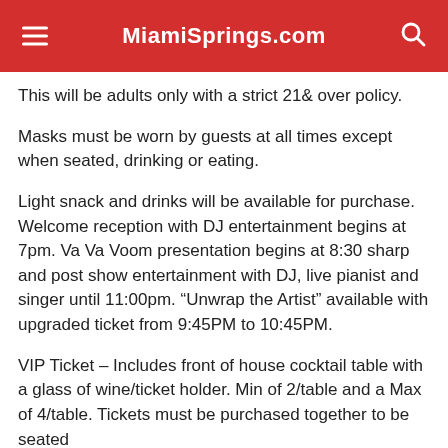MiamiSprings.com
This will be adults only with a strict 21& over policy.
Masks must be worn by guests at all times except when seated, drinking or eating.
Light snack and drinks will be available for purchase. Welcome reception with DJ entertainment begins at 7pm. Va Va Voom presentation begins at 8:30 sharp and post show entertainment with DJ, live pianist and singer until 11:00pm. “Unwrap the Artist” available with upgraded ticket from 9:45PM to 10:45PM.
VIP Ticket – Includes front of house cocktail table with a glass of wine/ticket holder. Min of 2/table and a Max of 4/table. Tickets must be purchased together to be seated together at table.